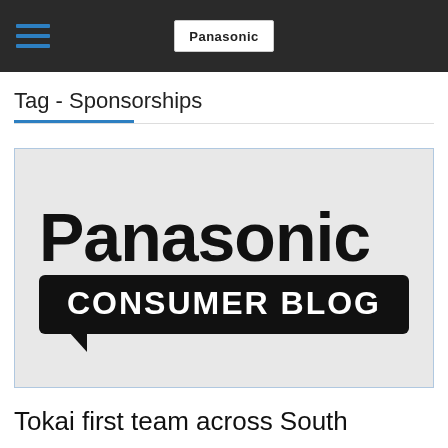Panasonic
Tag - Sponsorships
[Figure (logo): Panasonic Consumer Blog logo: bold black 'Panasonic' wordmark above a black rounded speech-bubble rectangle containing white uppercase text 'CONSUMER BLOG', on a light grey background.]
Tokai first team across South